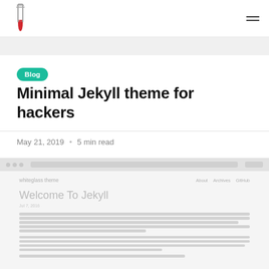whiteglass theme — navigation header with logo and hamburger menu
Blog
Minimal Jekyll theme for hackers
May 21, 2019 • 5 min read
[Figure (screenshot): Screenshot of a Jekyll blog theme called 'whiteglass theme' showing a 'Welcome To Jekyll' post with sample body text paragraphs on a light gray background, with a simple navigation bar at top showing About, Archives, GitHub links.]